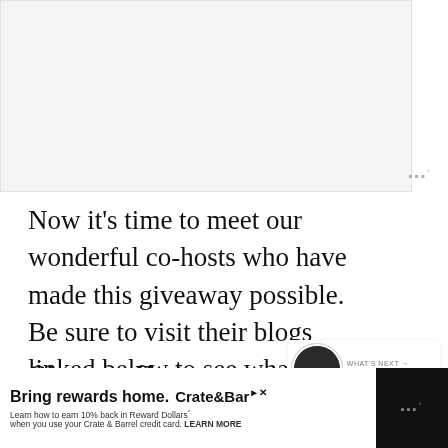[Figure (photo): Light gray blank image area at top of page]
Now it's time to meet our wonderful co-hosts who have made this giveaway possible. Be sure to visit their blogs linked below to see what projects they have created using DecoArt products!
Giveaway Hosts:
[Figure (infographic): What's Next box: circular thumbnail image with dark background and text 'WHAT'S NEXT → How To Make A DIY...']
[Figure (infographic): Advertisement bar: black background with white Crate & Barrel ad. Text: 'Bring rewards home. Crate&Barrel. Learn how to earn 10% back in Reward Dollars* when you use your Crate & Barrel credit card. LEARN MORE']